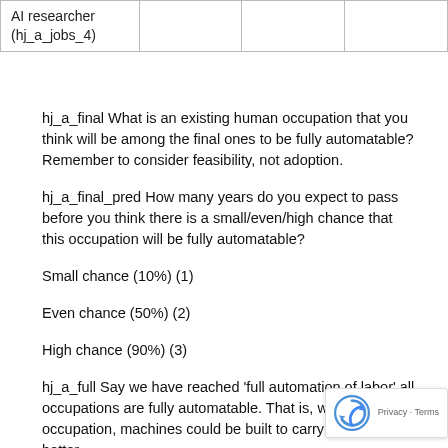| AI researcher
(hj_a_jobs_4) |  |  |  |
hj_a_final What is an existing human occupation that you think will be among the final ones to be fully automatable? Remember to consider feasibility, not adoption.
hj_a_final_pred How many years do you expect to pass before you think there is a small/even/high chance that this occupation will be fully automatable?
Small chance (10%) (1)
Even chance (50%) (2)
High chance (90%) (3)
hj_a_full Say we have reached 'full automation of labor' all occupations are fully automatable. That is, when for a occupation, machines could be built to carry out the task better